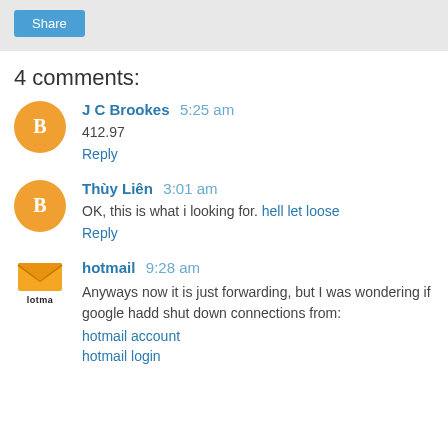[Figure (other): Share button in gray bar at top]
4 comments:
J C Brookes 5:25 am
412.97
Reply
Thùy Liên 3:01 am
OK, this is what i looking for. hell let loose
Reply
hotmail 9:28 am
Anyways now it is just forwarding, but I was wondering if google hadd shut down connections from:
hotmail account
hotmail login